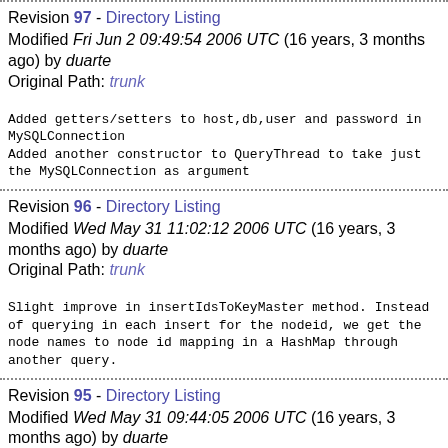Revision 97 - Directory Listing
Modified Fri Jun 2 09:49:54 2006 UTC (16 years, 3 months ago) by duarte
Original Path: trunk
Added getters/setters to host,db,user and password in MySQLConnection
Added another constructor to QueryThread to take just the MySQLConnection as argument
Revision 96 - Directory Listing
Modified Wed May 31 11:02:12 2006 UTC (16 years, 3 months ago) by duarte
Original Path: trunk
Slight improve in insertIdsToKeyMaster method. Instead of querying in each insert for the nodeid, we get the node names to node id mapping in a HashMap through another query.
Revision 95 - Directory Listing
Modified Wed May 31 09:44:05 2006 UTC (16 years, 3 months ago) by duarte
Original Path: trunk
Adapted also ClusterConnection and checking methods in DataDistribution to text/numeric keys.
Some methods in ClusterConnection have not changed at